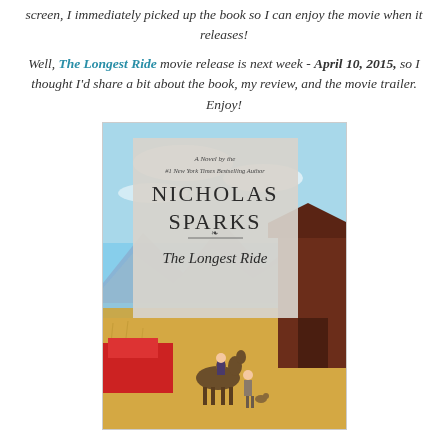screen, I immediately picked up the book so I can enjoy the movie when it releases!
Well, The Longest Ride movie release is next week - April 10, 2015, so I thought I'd share a bit about the book, my review, and the movie trailer. Enjoy!
[Figure (illustration): Book cover of 'The Longest Ride' by Nicholas Sparks. Gray box at top reads 'A Novel by the #1 New York Times Bestselling Author NICHOLAS SPARKS The Longest Ride'. Background shows blue sky, mountains, dry grass field, a dark red barn on the right, a red vehicle on the left, a person on horseback and another person standing, with a dog.]